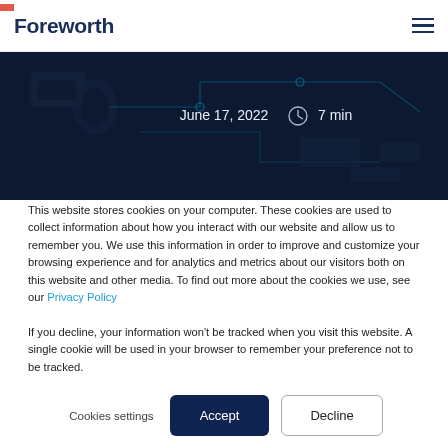Foreworth
[Figure (photo): Dark blue circuit board hero image with glowing cyan circuit traces and electronic components, overlaid with date and read time metadata: June 17, 2022 and 7 min]
This website stores cookies on your computer. These cookies are used to collect information about how you interact with our website and allow us to remember you. We use this information in order to improve and customize your browsing experience and for analytics and metrics about our visitors both on this website and other media. To find out more about the cookies we use, see our Privacy Policy
If you decline, your information won't be tracked when you visit this website. A single cookie will be used in your browser to remember your preference not to be tracked.
Cookies settings  Accept  Decline